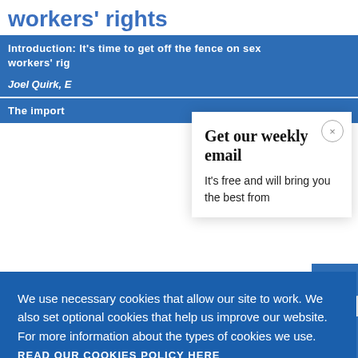workers' rights
Introduction: It's time to get off the fence on sex workers' rig...
Joel Quirk, E...
The import...
We use necessary cookies that allow our site to work. We also set optional cookies that help us improve our website. For more information about the types of cookies we use. READ OUR COOKIES POLICY HERE
COOKIE SETTINGS
ALLOW ALL COOKIES
Get our weekly email
It's free and will bring you the best from
data.
Lost in tran...